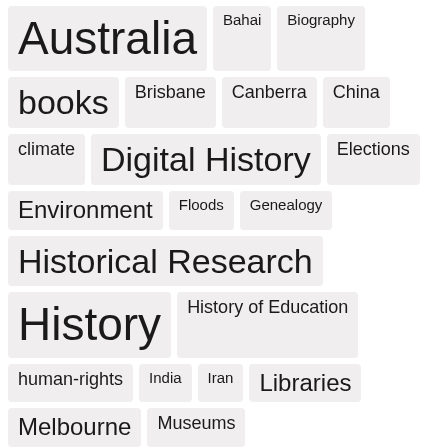[Figure (infographic): Tag cloud showing topics/categories with varying font sizes indicating frequency or importance. Tags include: Australia, Bahai, Biography, books, Brisbane, Canberra, China, climate, Digital History, Elections, Environment, Floods, Genealogy, Historical Research, History, History of Education, human-rights, India, Iran, Libraries, Melbourne, Museums, New South Wales, New Zealand, Queensland, religion, Religion in schools, Secular, SocialMedia, South Australia, Sydney, Tasmania, Teaching reading, twitter, United States]